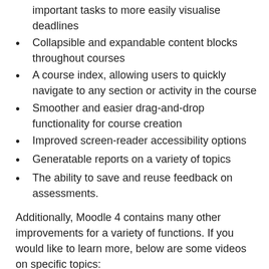important tasks to more easily visualise deadlines
Collapsible and expandable content blocks throughout courses
A course index, allowing users to quickly navigate to any section or activity in the course
Smoother and easier drag-and-drop functionality for course creation
Improved screen-reader accessibility options
Generatable reports on a variety of topics
The ability to save and reuse feedback on assessments.
Additionally, Moodle 4 contains many other improvements for a variety of functions. If you would like to learn more, below are some videos on specific topics:
Site navigation: Find your way around
Moodle now hosts a visual indicator showing which content in a course has not been completed. This reduces the